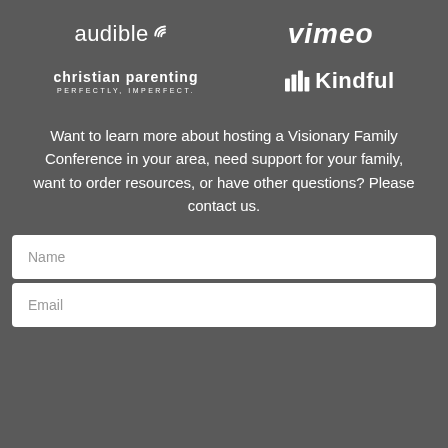[Figure (logo): Audible logo with headphone wifi icon]
[Figure (logo): Vimeo logo in italic white text]
[Figure (logo): Christian Parenting logo with tagline PERFECTLY, IMPERFECT.]
[Figure (logo): Kindful logo with bar chart icon]
Want to learn more about hosting a Visionary Family Conference in your area, need support for your family, want to order resources, or have other questions? Please contact us.
Name
Email